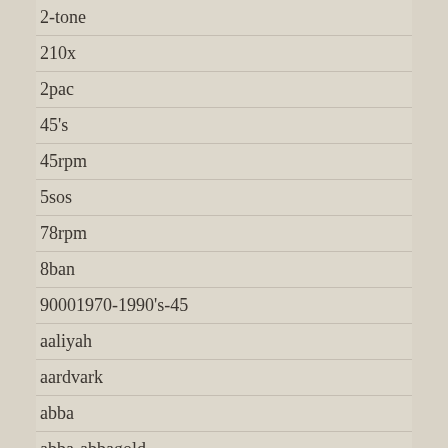2-tone
210x
2pac
45's
45rpm
5sos
78rpm
8ban
90001970-1990's-45
aaliyah
aardvark
abba
abba-abbagold
abdullah
abox
abstract